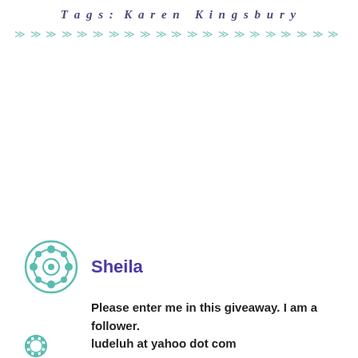Tags: Karen Kingsbury
>>> >>> >>> >>> >>> >>> >>> >>> >>> >>> >>> >>> >>> >>>
Sheila
Please enter me in this giveaway. I am a follower. ludeluh at yahoo dot com
Like
26 october, 2009, 3:52 pm
Reply